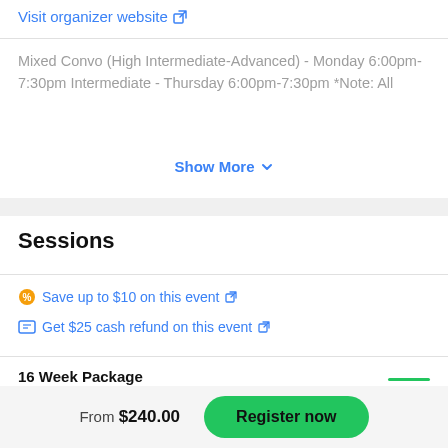Visit organizer website ↗
Mixed Convo (High Intermediate-Advanced) - Monday 6:00pm-7:30pm Intermediate - Thursday 6:00pm-7:30pm *Note: All
Show More ∨
Sessions
🏷 Save up to $10 on this event ↗
🎁 Get $25 cash refund on this event ↗
16 Week Package
From $240.00
Register now